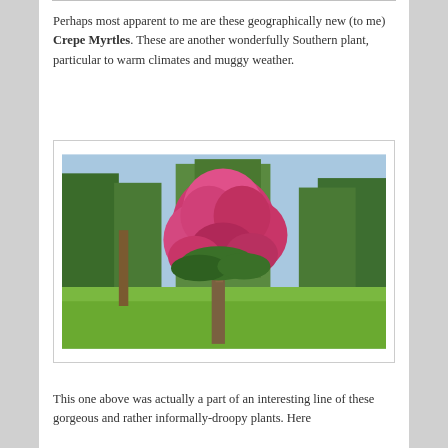Perhaps most apparent to me are these geographically new (to me) Crepe Myrtles. These are another wonderfully Southern plant, particular to warm climates and muggy weather.
[Figure (photo): A Crepe Myrtle tree in full bloom with bright pink/magenta flowers, set in a green lawn with trees in the background on a sunny day.]
This one above was actually a part of an interesting line of these gorgeous and rather informally-droopy plants. Here